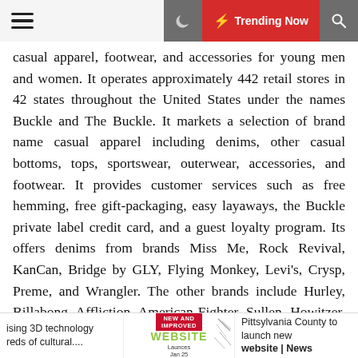≡  ☽  ⚡ Trending Now  🔍
casual apparel, footwear, and accessories for young men and women. It operates approximately 442 retail stores in 42 states throughout the United States under the names Buckle and The Buckle. It markets a selection of brand name casual apparel including denims, other casual bottoms, tops, sportswear, outerwear, accessories, and footwear. It provides customer services such as free hemming, free gift-packaging, easy layaways, the Buckle private label credit card, and a guest loyalty program. Its offers denims from brands Miss Me, Rock Revival, KanCan, Bridge by GLY, Flying Monkey, Levi's, Crysp, Preme, and Wrangler. The other brands include Hurley, Billabong, Affliction, American Fighter, Sullen, Howitzer, Oakley, Fox, RVCA, Ariat, Huey, Nixon, Free People, Z Supply, Salt Life, Reef, TenTree, Kustom, Timberland, SOREL, Hey Dude, Steve Madden, SAXX, Stance, Ray-Ban, Champion, Fossil, Brixton, MIA, Dr. Marten, Palladium, Toms, Red Stu, and G-Shock.
ising 3D technology | reds of cultural.... | NEW AND IMPROVED WEBSITE | Pittsylvania County to launch new website | News